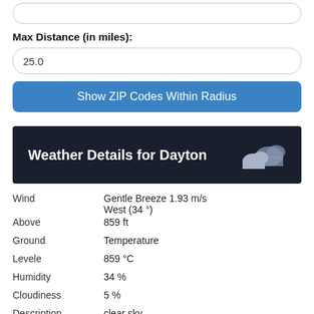[Figure (screenshot): Partial input field at top of page (rounded rectangle input box, partially visible)]
Max Distance (in miles):
25.0
Show ZIP Codes Within Radius
Weather Details for Dayton
| Label | Value |
| --- | --- |
| Wind | Gentle Breeze 1.93 m/s West (34 °) |
| Above | 859 ft |
| Ground | Temperature |
| Levele | 859 °C |
| Humidity | 34 % |
| Cloudiness | 5 % |
| Description | clear sky |
| Latitude | 42.125313 |
| Longitude | -112.013069 |